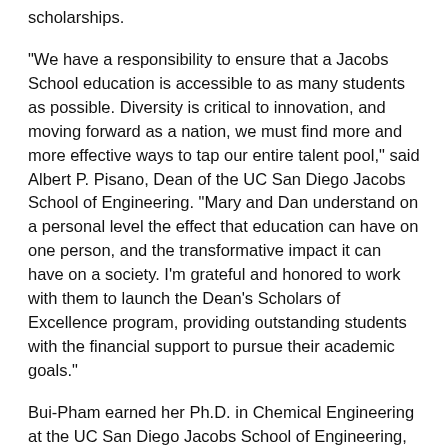scholarships.
"We have a responsibility to ensure that a Jacobs School education is accessible to as many students as possible. Diversity is critical to innovation, and moving forward as a nation, we must find more and more effective ways to tap our entire talent pool," said Albert P. Pisano, Dean of the UC San Diego Jacobs School of Engineering. "Mary and Dan understand on a personal level the effect that education can have on one person, and the transformative impact it can have on a society. I'm grateful and honored to work with them to launch the Dean's Scholars of Excellence program, providing outstanding students with the financial support to pursue their academic goals."
Bui-Pham earned her Ph.D. in Chemical Engineering at the UC San Diego Jacobs School of Engineering, where she met Dan, a master's student also working in Professor Kal Seshadri's lab one summer. It was fireworks-- or more like an explosion-- from the beginning; a pressure gauge on a gas tank Dan was using for an experiment malfunctioned, causing a minor explosion, but catching Mary's attention in the process. They've been together since.